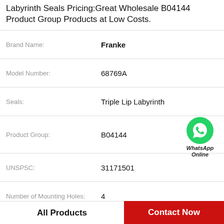Labyrinth Seals Pricing:Great Wholesale B04144 Product Group Products at Low Costs.
| Attribute | Value |
| --- | --- |
| Brand Name: | Franke |
| Model Number: | 68769A |
| Seals: | Triple Lip Labyrinth |
| Product Group: | B04144 |
| UNSPSC: | 31171501 |
| Number of Mounting Holes: | 4 |
| Pilot Configuration: | No Pilot |
| Expansion / Non-expansion: | Non-Expansion |
[Figure (logo): WhatsApp Online green circle icon with phone symbol and text 'WhatsApp Online']
All Products
Contact Now